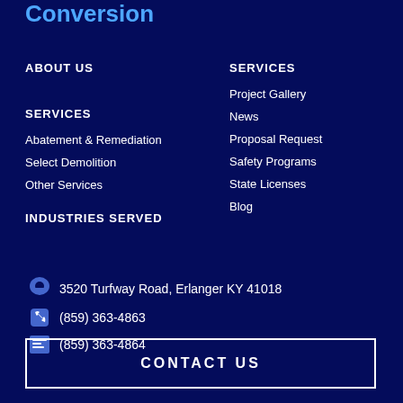Conversion
ABOUT US
SERVICES
Abatement & Remediation
Select Demolition
Other Services
INDUSTRIES SERVED
SERVICES
Project Gallery
News
Proposal Request
Safety Programs
State Licenses
Blog
3520 Turfway Road, Erlanger KY 41018
(859) 363-4863
(859) 363-4864
CONTACT US